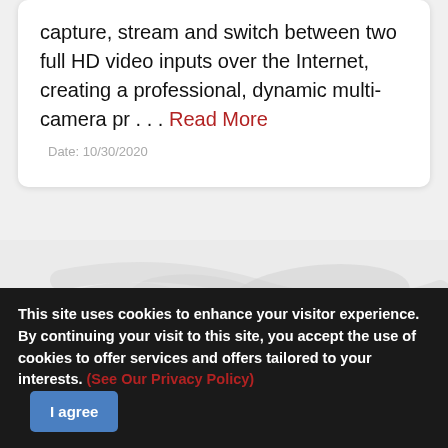capture, stream and switch between two full HD video inputs over the Internet, creating a professional, dynamic multi-camera pr . . . Read More
Date: 10/30/2020
[Figure (illustration): World map watermark background in light grey tones]
This site uses cookies to enhance your visitor experience. By continuing your visit to this site, you accept the use of cookies to offer services and offers tailored to your interests. (See Our Privacy Policy) I agree